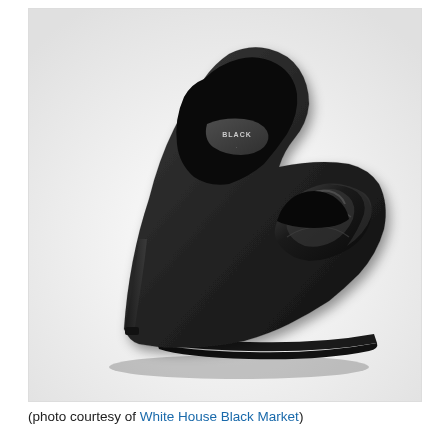[Figure (photo): A black high-heel peep-toe platform pump shoe with a satin bow/knot detail at the toe, shown in profile on a white background. The insole label reads 'BLACK'. Brand: White House Black Market.]
(photo courtesy of White House Black Market)